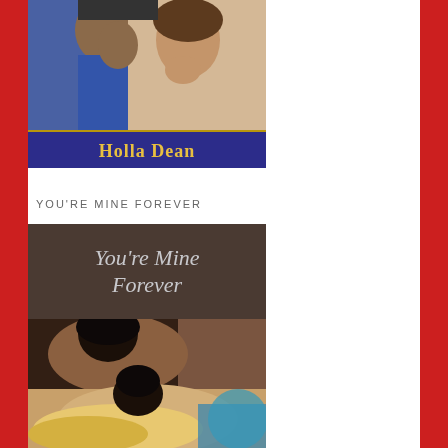[Figure (photo): Book cover showing a couple in an intimate pose, man in blue shirt, woman in white. Author name 'Holla Dean' on dark blue background with gold border.]
YOU'RE MINE FOREVER
[Figure (photo): Book cover for 'You're Mine Forever' with italic title text on brown background, below showing a couple in an intimate embrace.]